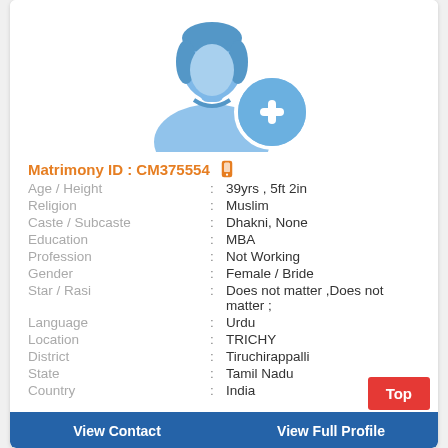[Figure (illustration): Female profile silhouette icon with a blue circular add/plus button overlay, light blue color scheme]
Matrimony ID : CM375554
Age / Height : 39yrs , 5ft 2in
Religion : Muslim
Caste / Subcaste : Dhakni, None
Education : MBA
Profession : Not Working
Gender : Female / Bride
Star / Rasi : Does not matter ,Does not matter ;
Language : Urdu
Location : TRICHY
District : Tiruchirappalli
State : Tamil Nadu
Country : India
View Contact
View Full Profile